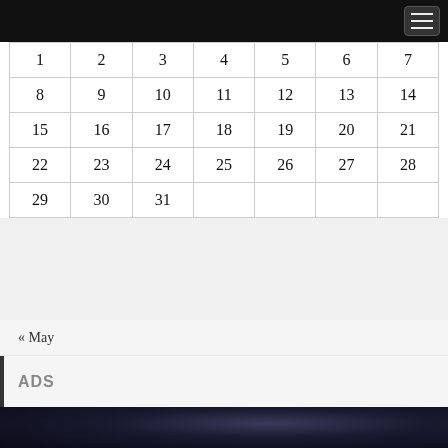| 1 | 2 | 3 | 4 | 5 | 6 | 7 |
| 8 | 9 | 10 | 11 | 12 | 13 | 14 |
| 15 | 16 | 17 | 18 | 19 | 20 | 21 |
| 22 | 23 | 24 | 25 | 26 | 27 | 28 |
| 29 | 30 | 31 |  |  |  |  |
« May
ADS
[Figure (photo): Dark moody photo, dark blue-black tones]